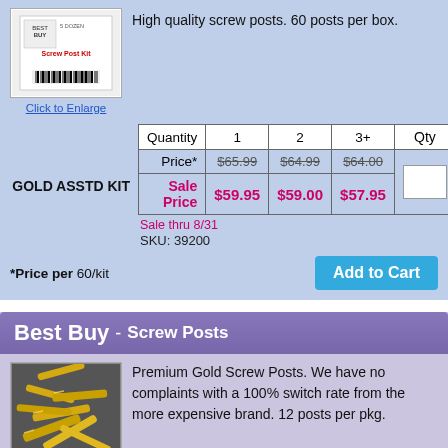High quality screw posts. 60 posts per box.
[Figure (photo): Product box labeled Best Buy Screw Post Kit, 5 Dozen, with barcode]
Click to Enlarge
| Quantity | 1 | 2 | 3+ | Qty |
| --- | --- | --- | --- | --- |
| Price* | $65.99 | $64.99 | $64.00 |  |
| Sale Price | $59.95 | $59.00 | $57.95 |  |
GOLD ASSTD KIT
Sale thru 8/31
SKU: 39200
*Price per 60/kit
Add to Cart
Best Buy - Screw Posts
[Figure (photo): Gold screw posts scattered on a dark background]
Click to Enlarge
Premium Gold Screw Posts. We have no complaints with a 100% switch rate from the more expensive brand. 12 posts per pkg.
Mix & Match for quantity discount - What's this?